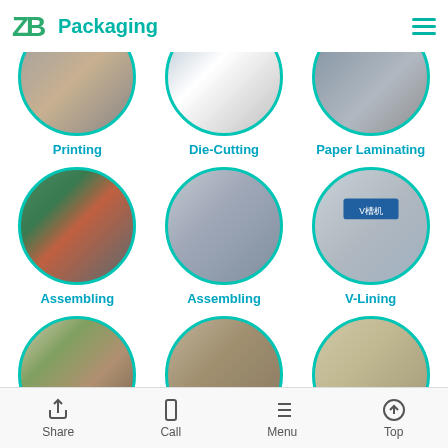ZB Packaging
[Figure (photo): Circular photo of printing machinery in factory]
Printing
[Figure (photo): Circular photo of die-cutting process with worker]
Die-Cutting
[Figure (photo): Circular photo of paper laminating process with worker]
Paper Laminating
[Figure (photo): Circular photo of assembling station with workers at green tables]
Assembling
[Figure (photo): Circular photo of assembling machinery]
Assembling
[Figure (photo): Circular photo of V-Lining machine with blue sign]
V-Lining
[Figure (photo): Circular photo of showroom with shelves of packaged products]
Showroom
[Figure (photo): Circular photo of warehouse with stacked boxes]
Warehouse
[Figure (photo): Circular photo of warehouse with stacked packaged goods]
Warehouse
Share  Call  Menu  Top